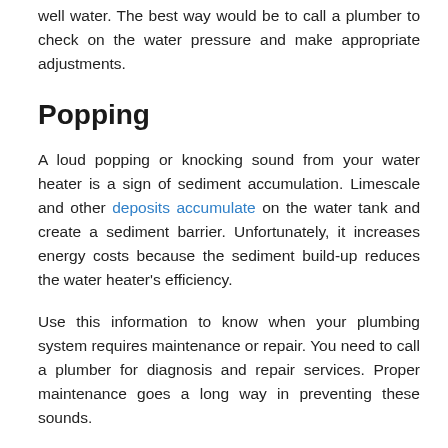well water. The best way would be to call a plumber to check on the water pressure and make appropriate adjustments.
Popping
A loud popping or knocking sound from your water heater is a sign of sediment accumulation. Limescale and other deposits accumulate on the water tank and create a sediment barrier. Unfortunately, it increases energy costs because the sediment build-up reduces the water heater’s efficiency.
Use this information to know when your plumbing system requires maintenance or repair. You need to call a plumber for diagnosis and repair services. Proper maintenance goes a long way in preventing these sounds.